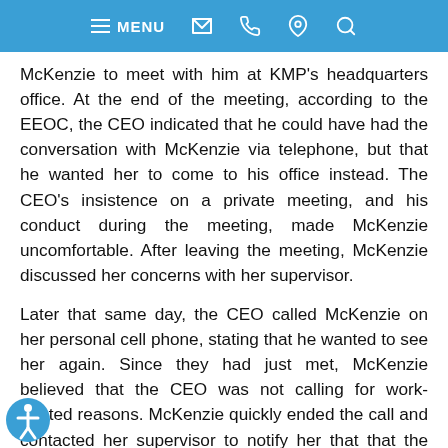MENU [phone] [email] [location] [search]
McKenzie to meet with him at KMP's headquarters office. At the end of the meeting, according to the EEOC, the CEO indicated that he could have had the conversation with McKenzie via telephone, but that he wanted her to come to his office instead. The CEO's insistence on a private meeting, and his conduct during the meeting, made McKenzie uncomfortable. After leaving the meeting, McKenzie discussed her concerns with her supervisor.
Later that same day, the CEO called McKenzie on her personal cell phone, stating that he wanted to see her again. Since they had just met, McKenzie believed that the CEO was not calling for work-related reasons. McKenzie quickly ended the call and contacted her supervisor to notify her that that the CEO's inappropriate conduct was continuing.